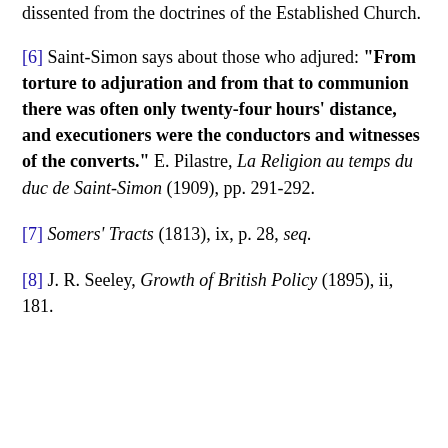dissented from the doctrines of the Established Church.
[6] Saint-Simon says about those who adjured: "From torture to adjuration and from that to communion there was often only twenty-four hours' distance, and executioners were the conductors and witnesses of the converts." E. Pilastre, La Religion au temps du duc de Saint-Simon (1909), pp. 291-292.
[7] Somers' Tracts (1813), ix, p. 28, seq.
[8] J. R. Seeley, Growth of British Policy (1895), ii, 181.